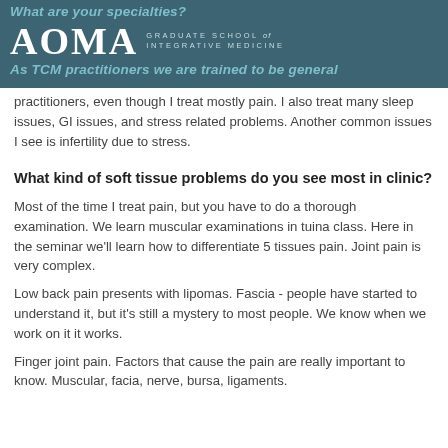What are your specialties? AOMA GRADUATE SCHOOL of INTEGRATIVE MEDICINE As TCM practitioners we are trained to be general
practitioners, even though I treat mostly pain. I also treat many sleep issues, GI issues, and stress related problems. Another common issues I see is infertility due to stress.
What kind of soft tissue problems do you see most in clinic?
Most of the time I treat pain, but you have to do a thorough examination. We learn muscular examinations in tuina class. Here in the seminar we'll learn how to differentiate 5 tissues pain. Joint pain is very complex.
Low back pain presents with lipomas. Fascia - people have started to understand it, but it's still a mystery to most people. We know when we work on it it works.
Finger joint pain. Factors that cause the pain are really important to know. Muscular, facia, nerve, bursa, ligaments.